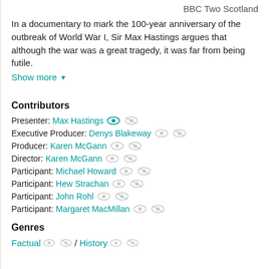BBC Two Scotland
In a documentary to mark the 100-year anniversary of the outbreak of World War I, Sir Max Hastings argues that although the war was a great tragedy, it was far from being futile.
Show more
Contributors
Presenter: Max Hastings
Executive Producer: Denys Blakeway
Producer: Karen McGann
Director: Karen McGann
Participant: Michael Howard
Participant: Hew Strachan
Participant: John Rohl
Participant: Margaret MacMillan
Genres
Factual / History